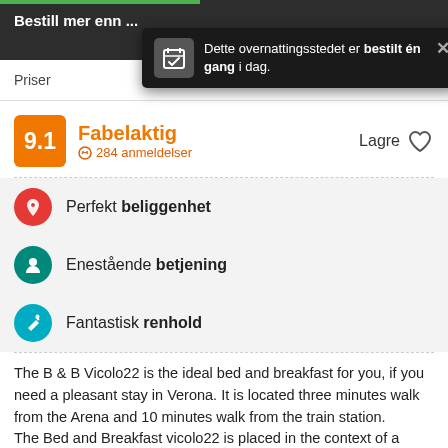Bestill mer enn ...
Dette overnattingsstedet er bestilt én gang i dag.
Priser
9.1  Fabelaktig  284 anmeldelser  Lagre
Perfekt beliggenhet
Enestående betjening
Fantastisk renhold
The B & B Vicolo22 is the ideal bed and breakfast for you, if you need a pleasant stay in Verona. It is located three minutes walk from the Arena and 10 minutes walk from the train station.
The Bed and Breakfast vicolo22 is placed in the context of a beautiful detached house, completely renovated and tastefully furnished, has matrimonial or twin bedrooms with private or shared bathroom, all rooms are equipped with more amenities such as LCD TV, air